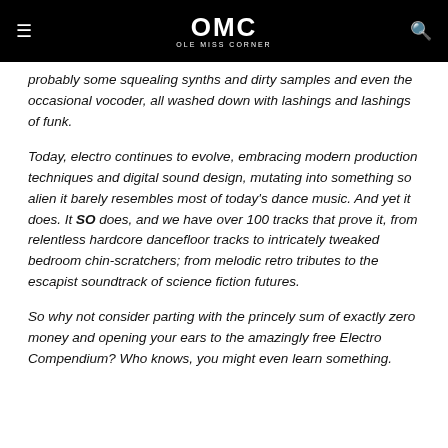OMC | OLE MISS CORNER
...probably some squealing synths and dirty samples and even the occasional vocoder, all washed down with lashings and lashings of funk.
Today, electro continues to evolve, embracing modern production techniques and digital sound design, mutating into something so alien it barely resembles most of today's dance music. And yet it does. It SO does, and we have over 100 tracks that prove it, from relentless hardcore dancefloor tracks to intricately tweaked bedroom chin-scratchers; from melodic retro tributes to the escapist soundtrack of science fiction futures.
So why not consider parting with the princely sum of exactly zero money and opening your ears to the amazingly free Electro Compendium? Who knows, you might even learn something.